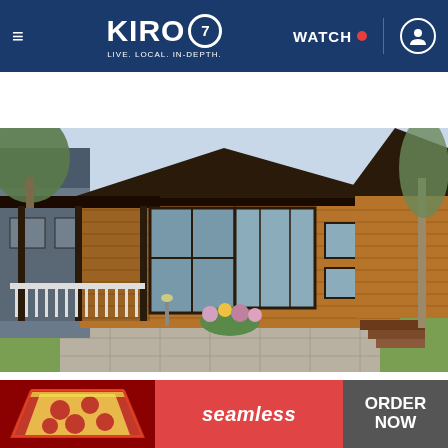KIRO 7 — LIVE. LOCAL. IN-DEPTH. | WATCH
WEATHER ALERT | Heat Advisory
[Figure (photo): Exterior photo of a modern small home or mobile home with cedar/wood horizontal siding, large windows, a covered porch with dark metal framing, dark roof, concrete patio, and landscaping with flowers and lawn.]
New Senior Apartments Coming to Ashburn (Take A…
[Figure (infographic): Advertisement banner for Seamless food delivery showing a pizza slice image on left, Seamless logo in center, and ORDER NOW button on right with dark background.]